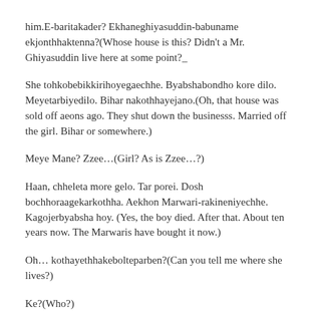him.E-baritakader? Ekhaneghiyasuddin-babuname ekjonthhaktenna?(Whose house is this? Didn't a Mr. Ghiyasuddin live here at some point?_
She tohkobebikkirihoyegaechhe. Byabshabondho kore dilo. Meyetarbiyedilo. Bihar nakothhayejano.(Oh, that house was sold off aeons ago. They shut down the businesss. Married off the girl. Bihar or somewhere.)
Meye Mane? Zzee…(Girl? As is Zzee…?)
Haan, chheleta more gelo. Tar porei. Dosh bochhoraagekarkothha. Aekhon Marwari-rakineniyechhe. Kagojerbyabsha hoy. (Yes, the boy died. After that. About ten years now. The Marwaris have bought it now.)
Oh… kothayethhakebolteparben?(Can you tell me where she lives?)
Ke?(Who?)